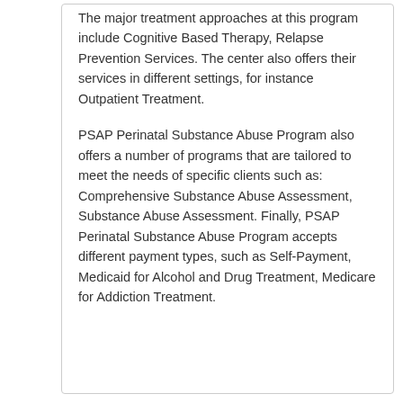The major treatment approaches at this program include Cognitive Based Therapy, Relapse Prevention Services. The center also offers their services in different settings, for instance Outpatient Treatment.
PSAP Perinatal Substance Abuse Program also offers a number of programs that are tailored to meet the needs of specific clients such as: Comprehensive Substance Abuse Assessment, Substance Abuse Assessment. Finally, PSAP Perinatal Substance Abuse Program accepts different payment types, such as Self-Payment, Medicaid for Alcohol and Drug Treatment, Medicare for Addiction Treatment.